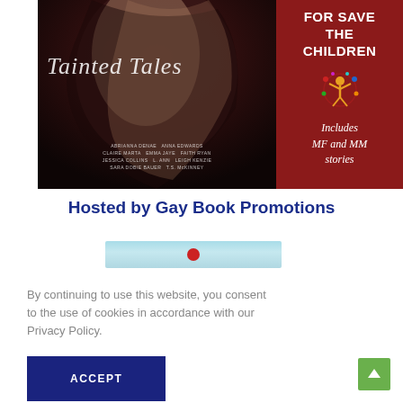[Figure (illustration): Book cover for 'Tainted Tales' anthology. Left side shows a dark moody photograph of a figure. Right side is dark red with text 'FOR SAVE THE CHILDREN', a colorful logo, and 'Includes MF and MM stories'. Authors listed: Abrianna Denae, Anna Edwards, Claire Marta, Emma Jaye, Faith Ryan, Jessica Collins, L. Ann, Leigh Kenzie, Sara Dobie Bauer, T.S. McKinney.]
Hosted by Gay Book Promotions
[Figure (screenshot): Partial view of another book or website image — light blue/teal background with a red circular element.]
By continuing to use this website, you consent to the use of cookies in accordance with our Privacy Policy.
ACCEPT